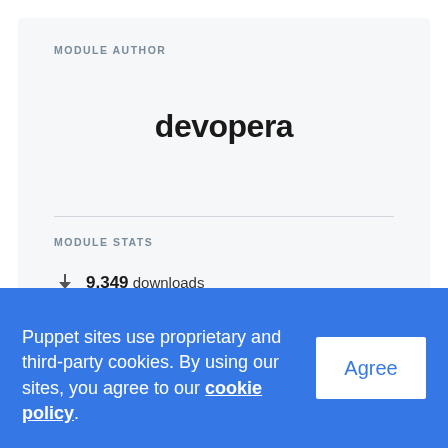MODULE AUTHOR
devopera
devopera
MODULE STATS
9,349 downloads
9,349 latest version
Puppet sites use proprietary and third-party cookies. By using our sites, you agree to our cookie policy.